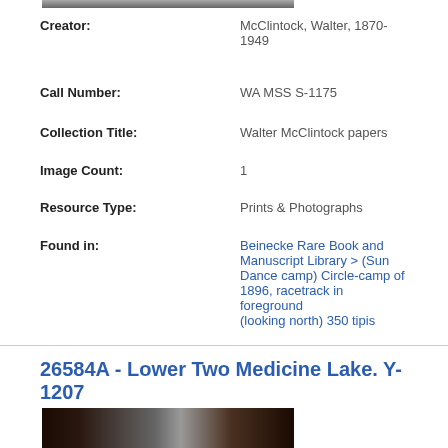[Figure (photo): Partial photo of historic black and white image at top of page]
Creator: McClintock, Walter, 1870-1949
Call Number: WA MSS S-1175
Collection Title: Walter McClintock papers
Image Count: 1
Resource Type: Prints & Photographs
Found in: Beinecke Rare Book and Manuscript Library > (Sun Dance camp) Circle-camp of 1896, racetrack in foreground (looking north) 350 tipis
26584A - Lower Two Medicine Lake. Y-1207
[Figure (photo): Partial photo at bottom of page, dark image with label visible]